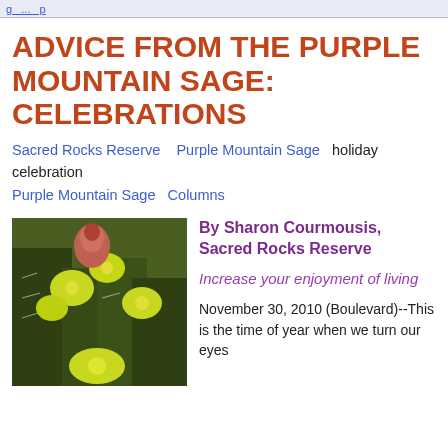... g ... p ...
ADVICE FROM THE PURPLE MOUNTAIN SAGE: CELEBRATIONS
Sacred Rocks Reserve   Purple Mountain Sage   holiday celebration
Purple Mountain Sage   Columns
[Figure (photo): Close-up photo of a cactus with yellow flowers and a pinkish-red bud, spiny green stems]
By Sharon Courmousis, Sacred Rocks Reserve
Increase your enjoyment of living
November 30, 2010 (Boulevard)--This is the time of year when we turn our eyes